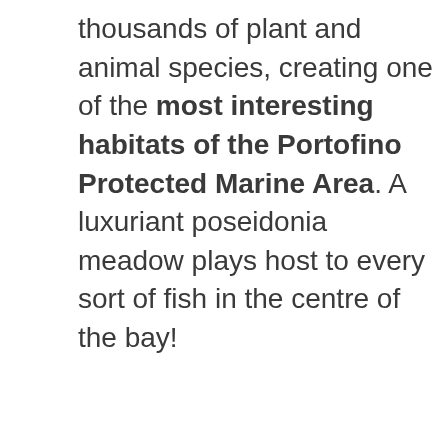thousands of plant and animal species, creating one of the most interesting habitats of the Portofino Protected Marine Area. A luxuriant poseidonia meadow plays host to every sort of fish in the centre of the bay!